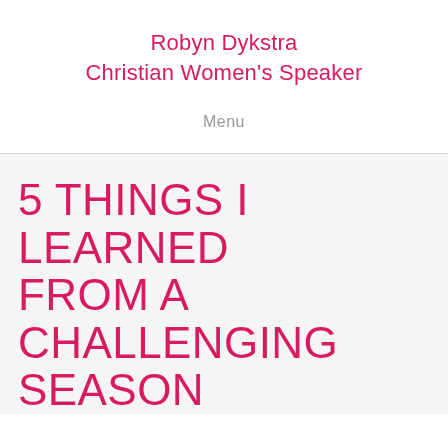Robyn Dykstra
Christian Women's Speaker
Menu
5 THINGS I LEARNED FROM A CHALLENGING SEASON